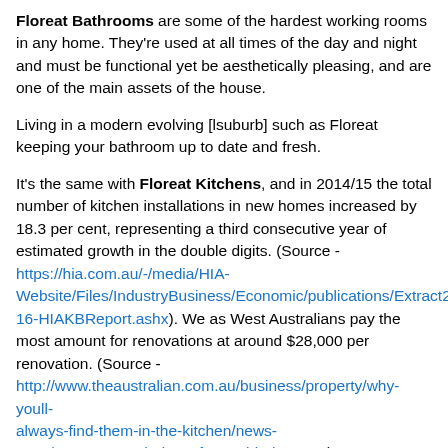Floreat Bathrooms are some of the hardest working rooms in any home. They're used at all times of the day and night and must be functional yet be aesthetically pleasing, and are one of the main assets of the house.
Living in a modern evolving [lsuburb] such as Floreat keeping your bathroom up to date and fresh.
It's the same with Floreat Kitchens, and in 2014/15 the total number of kitchen installations in new homes increased by 18.3 per cent, representing a third consecutive year of estimated growth in the double digits. (Source - https://hia.com.au/-/media/HIA-Website/Files/IndustryBusiness/Economic/publications/Extract201 16-HIAKBReport.ashx). We as West Australians pay the most amount for renovations at around $28,000 per renovation. (Source - http://www.theaustralian.com.au/business/property/why-youll-always-find-them-in-the-kitchen/news-story/026583155cd4d596cfe6585bb8b99c9a )
Splash and gas can renovate your bathroom and kitchen to the highest standards at the best price. We are not the